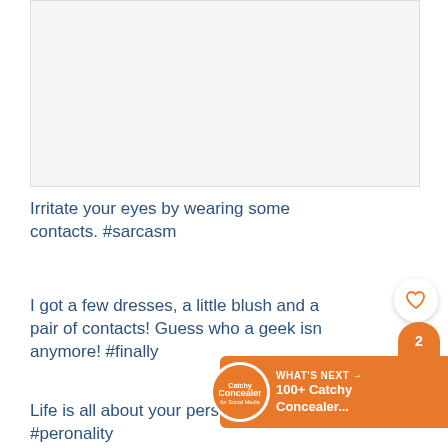[Figure (photo): Photo placeholder area at the top of the page]
Irritate your eyes by wearing some contacts. #sarcasm
I got a few dresses, a little blush and a pair of contacts! Guess who a geek isn anymore! #finally
Life is all about your personality! #peronality